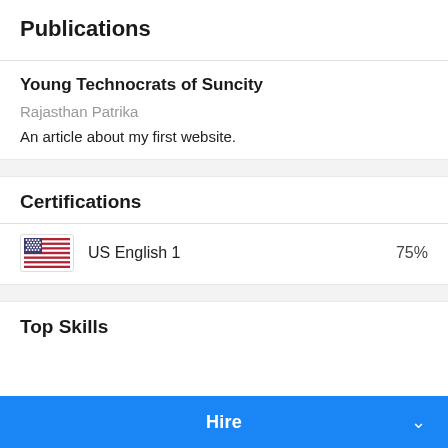Publications
Young Technocrats of Suncity
Rajasthan Patrika
An article about my first website.
Certifications
US English 1    75%
Top Skills
Hire